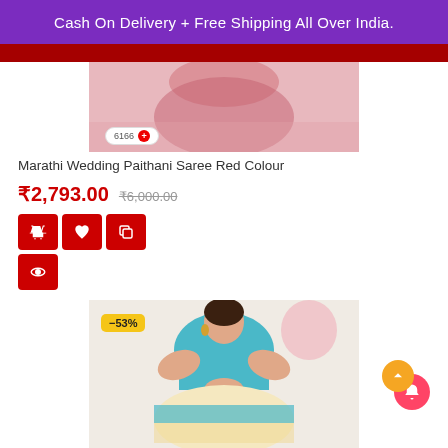Cash On Delivery + Free Shipping All Over India.
[Figure (photo): Product image of red Paithani saree, partially visible, with badge showing 6166]
Marathi Wedding Paithani Saree Red Colour
₹2,793.00  ₹6,000.00
[Figure (photo): Photo of woman wearing teal/blue Paithani saree with cream embroidered border, with -53% discount badge]